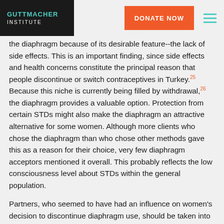GUTTMACHER INSTITUTE | DONATE NOW
the diaphragm because of its desirable feature--the lack of side effects. This is an important finding, since side effects and health concerns constitute the principal reason that people discontinue or switch contraceptives in Turkey.25 Because this niche is currently being filled by withdrawal,26 the diaphragm provides a valuable option. Protection from certain STDs might also make the diaphragm an attractive alternative for some women. Although more clients who chose the diaphragm than who chose other methods gave this as a reason for their choice, very few diaphragm acceptors mentioned it overall. This probably reflects the low consciousness level about STDs within the general population.
Partners, who seemed to have had an influence on women's decision to discontinue diaphragm use, should be taken into account in information and counseling activities. We recommend that men be targeted to receive information about the diaphragm. Furthermore